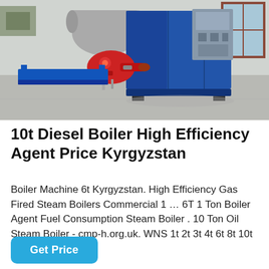[Figure (photo): Industrial gas/diesel steam boiler unit with blue casing and a red burner assembly on the left, photographed in a factory or warehouse setting. Background shows additional equipment and windows.]
10t Diesel Boiler High Efficiency Agent Price Kyrgyzstan
Boiler Machine 6t Kyrgyzstan. High Efficiency Gas Fired Steam Boilers Commercial 1 … 6T 1 Ton Boiler Agent Fuel Consumption Steam Boiler . 10 Ton Oil Steam Boiler - cmp-h.org.uk. WNS 1t 2t 3t 4t 6t 8t 10t natural gas light…
Get Price